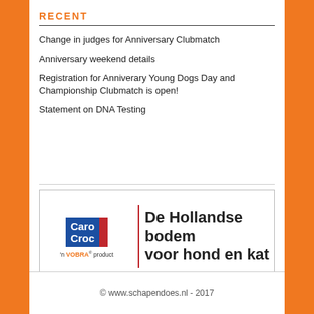RECENT
Change in judges for Anniversary Clubmatch
Anniversary weekend details
Registration for Anniverary Young Dogs Day and Championship Clubmatch is open!
Statement on DNA Testing
[Figure (logo): Caro Croc advertisement banner — logo with blue/red squares showing 'Caro Croc', red divider, tagline 'De Hollandse bodem voor hond en kat', 'n VOBRA product']
© www.schapendoes.nl - 2017